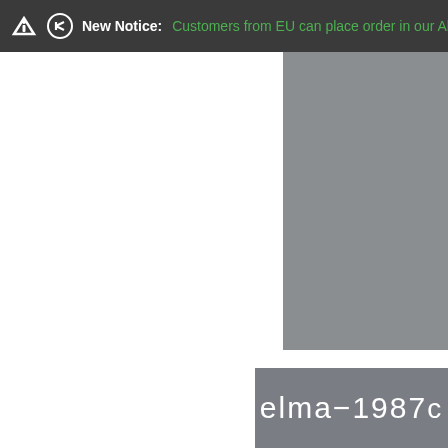New Notice: Customers from EU can place order in our AliExpress X
[Figure (screenshot): E-commerce website screenshot showing a notification bar at the top with text 'New Notice: Customers from EU can place order in our AliExpress', a large white left panel, a gray upper-right panel (product image placeholder), a white gap, and a gray lower-right panel showing partial username text 'elma-1987']